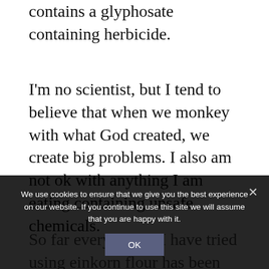contains a glyphosate containing herbicide.
I'm no scientist, but I tend to believe that when we monkey with what God created, we create big problems. I also am not ok with anything I am eating containing unsafe chemicals.
So far every recipe I have tried using einkorn flour has been delicious and
We use cookies to ensure that we give you the best experience on our website. If you continue to use this site we will assume that you are happy with it.
OK